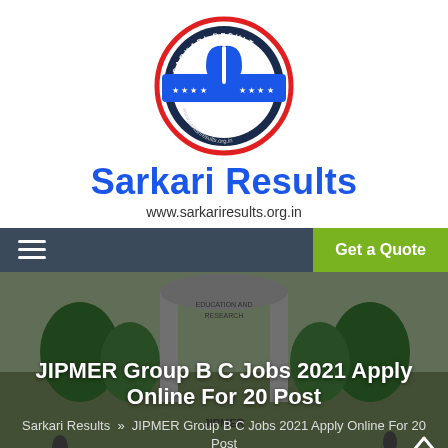[Figure (logo): Sarkari Result circular logo with red outer ring, white inner circle, blue book icon, blue banner across middle with stars, text 'SARKARI RESULT' and 'www.sarkariresults.org.in']
Sarkari Results
www.sarkariresults.org.in
Get a Quote
[Figure (photo): Background photo of JIPMER institutional gate/entrance with trees]
JIPMER Group B C Jobs 2021 Apply Online For 20 Post
Sarkari Results » JIPMER Group B C Jobs 2021 Apply Online For 20 Post